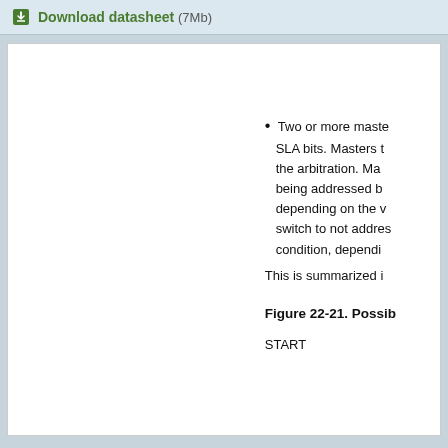Download datasheet (7Mb)
Two or more maste SLA bits. Masters t the arbitration. Ma being addressed b depending on the v switch to not addres condition, dependi
This is summarized i
Figure 22-21. Possib
START